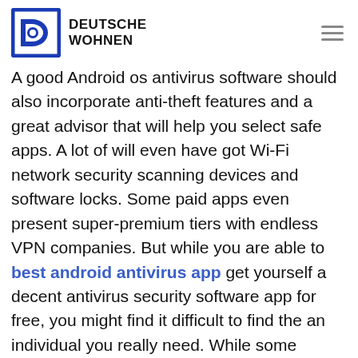Deutsche Wohnen
A good Android os antivirus software should also incorporate anti-theft features and a great advisor that will help you select safe apps. A lot of will even have got Wi-Fi network security scanning devices and software locks. Some paid apps even present super-premium tiers with endless VPN companies. But while you are able to best android antivirus app get yourself a decent antivirus security software app for free, you might find it difficult to find the an individual you really need. While some software offer a trial offer, most expense $15 or more per year.